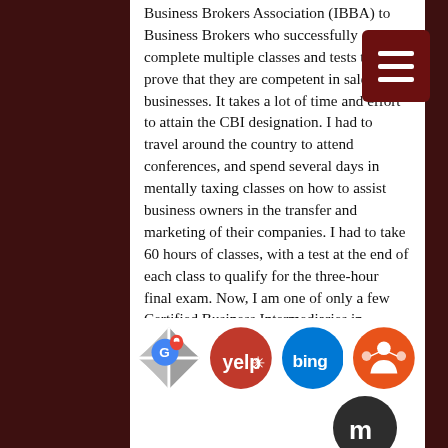Business Brokers Association (IBBA) to Business Brokers who successfully complete multiple classes and tests to prove that they are competent in sales of businesses. It takes a lot of time and effort to attain the CBI designation. I had to travel around the country to attend conferences, and spend several days in mentally taxing classes on how to assist business owners in the transfer and marketing of their companies. I had to take 60 hours of classes, with a test at the end of each class to qualify for the three-hour final exam. Now, I am one of only a few Certified Business Intermediaries in Arizona.
[Figure (infographic): Row of social/review platform icon circles: Google Maps, Yelp, Bing, and a network/referral icon (orange with figure), plus a dark grey 'm' icon below.]